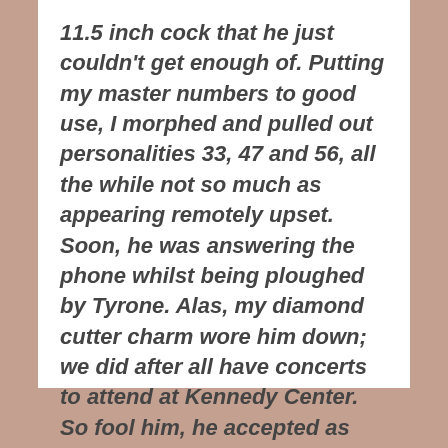11.5 inch cock that he just couldn't get enough of. Putting my master numbers to good use, I morphed and pulled out personalities 33, 47 and 56, all the while not so much as appearing remotely upset. Soon, he was answering the phone whilst being ploughed by Tyrone. Alas, my diamond cutter charm wore him down; we did after all have concerts to attend at Kennedy Center. So fool him, he accepted as Tyrone was going home to Philly for his mama's 50th birthday – as if I could give two point five fucks.